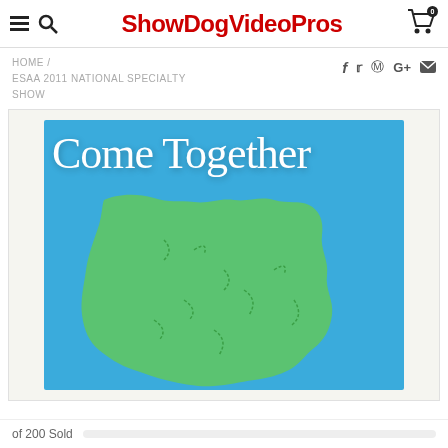ShowDogVideoPros
HOME / ESAA 2011 NATIONAL SPECIALTY SHOW
[Figure (illustration): Product image for ESAA 2011 National Specialty Show. Blue background with white cursive text reading 'Come Together' and a green puzzle-piece map shape below.]
of 200 Sold